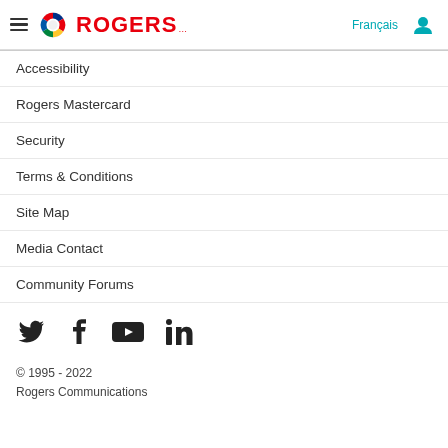Rogers — Français
Accessibility
Rogers Mastercard
Security
Terms & Conditions
Site Map
Media Contact
Community Forums
[Figure (infographic): Social media icons row: Twitter (bird), Facebook (f), YouTube (play triangle), LinkedIn (in)]
© 1995 - 2022
Rogers Communications